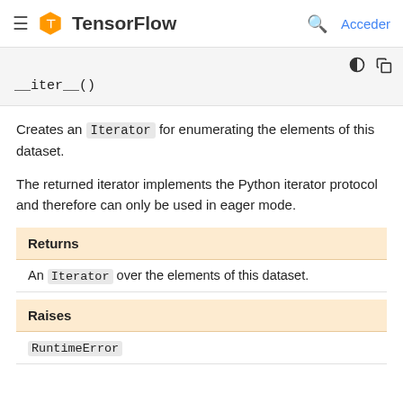TensorFlow — Acceder
__iter__()
Creates an Iterator for enumerating the elements of this dataset.
The returned iterator implements the Python iterator protocol and therefore can only be used in eager mode.
| Returns |
| --- |
| An Iterator over the elements of this dataset. |
| Raises |
| --- |
| RuntimeError |